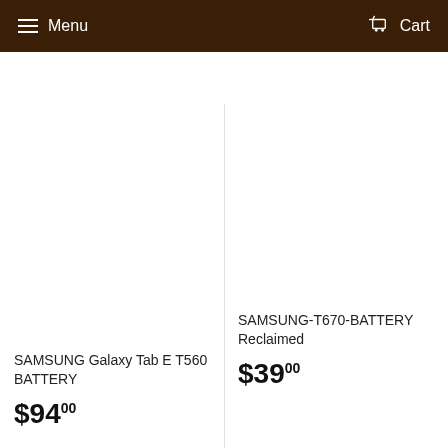Menu  Cart
SAMSUNG Galaxy Tab E T560 BATTERY
$94.00
SAMSUNG-T670-BATTERY Reclaimed
$39.00